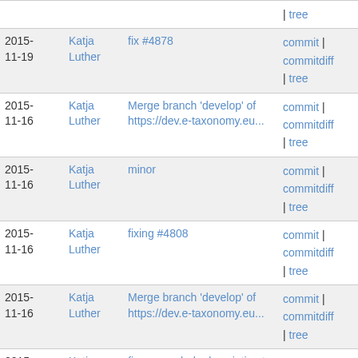| Date | Author | Message | Links |
| --- | --- | --- | --- |
|  |  |  | | tree |
| 2015-
11-19 | Katja Luther | fix #4878 | commit | commitdiff | tree |
| 2015-
11-16 | Katja Luther | Merge branch 'develop' of https://dev.e-taxonomy.eu... | commit | commitdiff | tree |
| 2015-
11-16 | Katja Luther | minor | commit | commitdiff | tree |
| 2015-
11-16 | Katja Luther | fixing #4808 | commit | commitdiff | tree |
| 2015-
11-16 | Katja Luther | Merge branch 'develop' of https://dev.e-taxonomy.eu... | commit | commitdiff | tree |
| 2015-
11-16 | Katja Luther | fix move whole description to another description and... | commit | commitdiff | tree |
| 2015-
11-10 | Katja Luther | minor | commit | commitdiff |